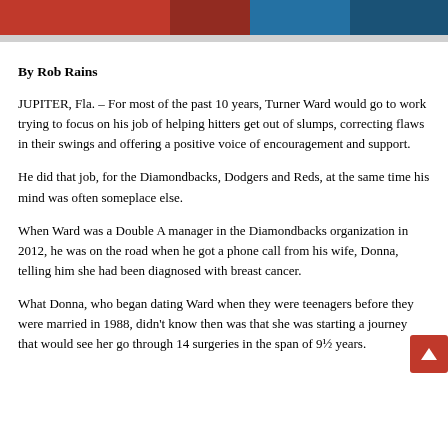[Figure (photo): Partial photo at top of page showing people in red and blue clothing, appears to be a sports setting with netting in background]
By Rob Rains
JUPITER, Fla. – For most of the past 10 years, Turner Ward would go to work trying to focus on his job of helping hitters get out of slumps, correcting flaws in their swings and offering a positive voice of encouragement and support.
He did that job, for the Diamondbacks, Dodgers and Reds, at the same time his mind was often someplace else.
When Ward was a Double A manager in the Diamondbacks organization in 2012, he was on the road when he got a phone call from his wife, Donna, telling him she had been diagnosed with breast cancer.
What Donna, who began dating Ward when they were teenagers before they were married in 1988, didn't know then was that she was starting a journey that would see her go through 14 surgeries in the span of 9½ years.